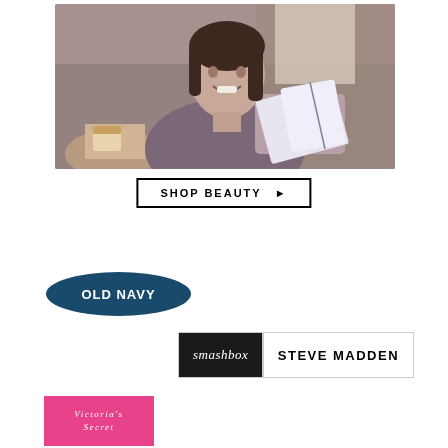[Figure (photo): Young woman smiling and reading a magazine at a cafe table with food in background]
SHOP BEAUTY ▶
[Figure (logo): Old Navy logo — white text on dark blue oval background]
[Figure (logo): Smashbox logo (white italic text on black background) alongside Steve Madden logo (bold black text on white background), both within a bordered rectangle]
[Figure (logo): Victoria's Secret logo — italic white serif text on pink/magenta background square]